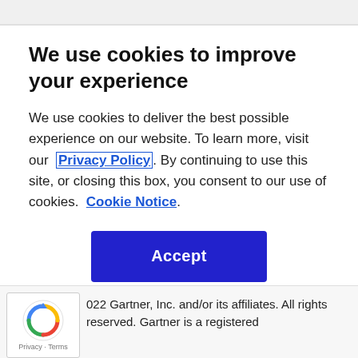We use cookies to improve your experience
We use cookies to deliver the best possible experience on our website. To learn more, visit our  Privacy Policy. By continuing to use this site, or closing this box, you consent to our use of cookies.  Cookie Notice.
[Figure (other): Blue Accept button]
© 2022 Gartner, Inc. and/or its affiliates. All rights reserved. Gartner is a registered